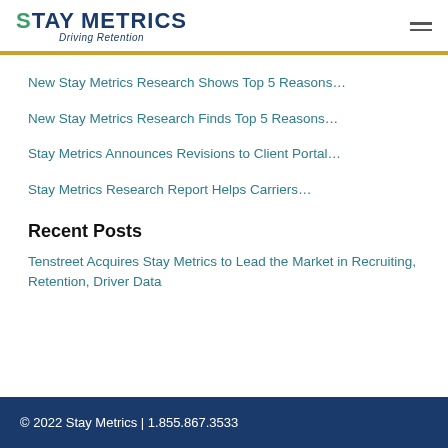[Figure (logo): Stay Metrics logo with 'Driving Retention' tagline]
New Stay Metrics Research Shows Top 5 Reasons…
New Stay Metrics Research Finds Top 5 Reasons…
Stay Metrics Announces Revisions to Client Portal…
Stay Metrics Research Report Helps Carriers…
Recent Posts
Tenstreet Acquires Stay Metrics to Lead the Market in Recruiting, Retention, Driver Data
© 2022 Stay Metrics | 1.855.867.3533